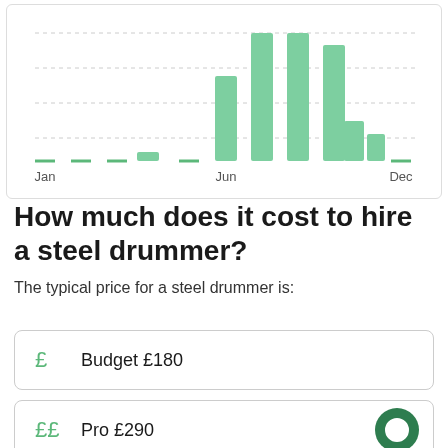[Figure (bar-chart): Monthly demand chart for steel drummer]
How much does it cost to hire a steel drummer?
The typical price for a steel drummer is:
| Tier | Price |
| --- | --- |
| Budget | £180 |
| Pro | £290 |